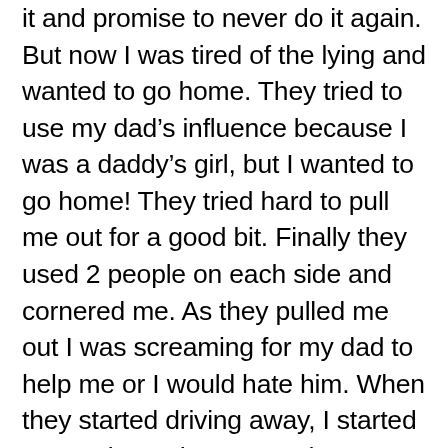it and promise to never do it again. But now I was tired of the lying and wanted to go home. They tried to use my dad's influence because I was a daddy's girl, but I wanted to go home! They tried hard to pull me out for a good bit. Finally they used 2 people on each side and cornered me. As they pulled me out I was screaming for my dad to help me or I would hate him. When they started driving away, I started screaming, “I hate you! I hate you! You’re not my dad! I don’t love you anymore! I hate you!” (I wasn’t referring to the time my mom said that me and my little brother weren’t his kids. I still didn’t understand all of that. What I got out of that was just something my mom said made my dad say she said...